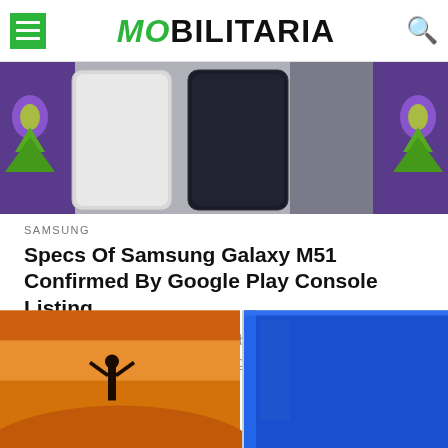Mobilitaria
[Figure (photo): Samsung Galaxy M51 smartphones shown from the back in silver and black colors with colorful background]
SAMSUNG
Specs Of Samsung Galaxy M51 Confirmed By Google Play Console Listing
There have been so many talks about the upcoming Samsung Galaxy M51, which is a good thing considering the phone will launch soon. Leaks...
[Figure (photo): Person with arms raised against sunset/desert background next to a blue Samsung smartphone]